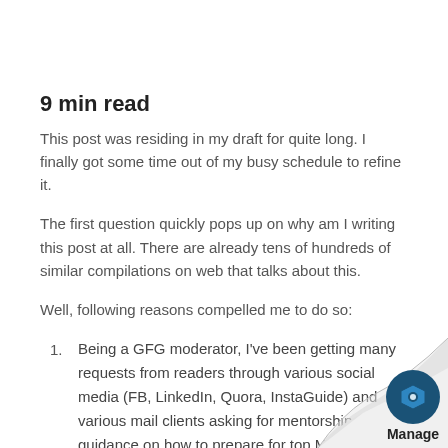9 min read
This post was residing in my draft for quite long. I finally got some time out of my busy schedule to refine it.
The first question quickly pops up on why am I writing this post at all. There are already tens of hundreds of similar compilations on web that talks about this.
Well, following reasons compelled me to do so:
Being a GFG moderator, I've been getting many requests from readers through various social media (FB, LinkedIn, Quora, InstaGuide) and various mail clients asking for mentorship and guidance on how to prepare for top MNCs Microsoft, Amazon, Google etc